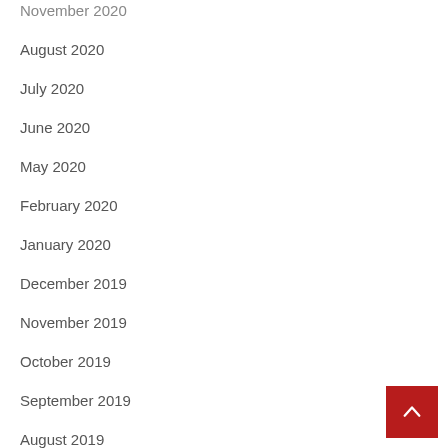November 2020
August 2020
July 2020
June 2020
May 2020
February 2020
January 2020
December 2019
November 2019
October 2019
September 2019
August 2019
July 2019
June 2019